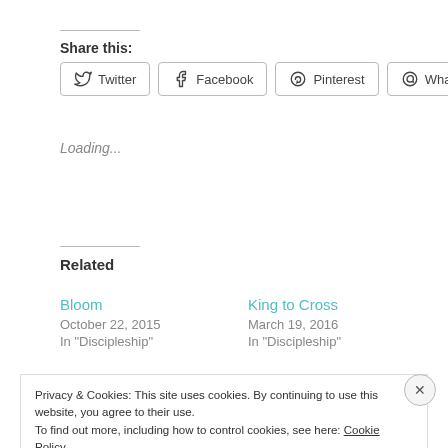Share this:
Twitter | Facebook | Pinterest | WhatsApp
Loading...
Related
Bloom
October 22, 2015
In "Discipleship"
King to Cross
March 19, 2016
In "Discipleship"
Privacy & Cookies: This site uses cookies. By continuing to use this website, you agree to their use.
To find out more, including how to control cookies, see here: Cookie Policy
Close and accept